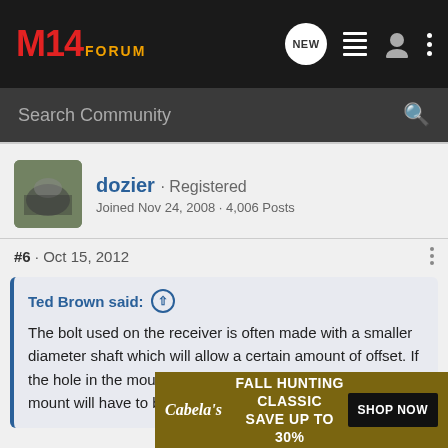M14FORUM
Search Community
[Figure (photo): User avatar for dozier - small square image with dark/grey tones]
dozier · Registered
Joined Nov 24, 2008 · 4,006 Posts
#6 · Oct 15, 2012
Ted Brown said: ↑
The bolt used on the receiver is often made with a smaller diameter shaft which will allow a certain amount of offset. If the hole in the mount covers part of the receiver hole the mount will have to be modified.
Yes, to T... I'm assuming... loose if the...
[Figure (other): Cabela's Fall Hunting Classic advertisement banner - Save up to 30% - Shop Now button]